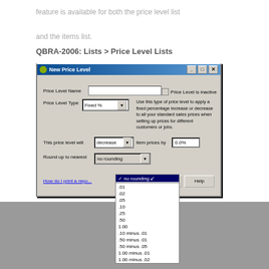feature is available for both the price level list and the items list.
QBRA-2006: Lists > Price Level Lists
[Figure (screenshot): QuickBooks 'New Price Level' dialog box with Fixed % price level type selected. A dropdown for 'Round up to nearest' is open showing options: no rounding (selected), .01, .02, .05, .10, .25, .50, 1.00, .10 minus .01, .50 minus .01, .50 minus .05, 1.00 minus .01, 1.00 minus .02]